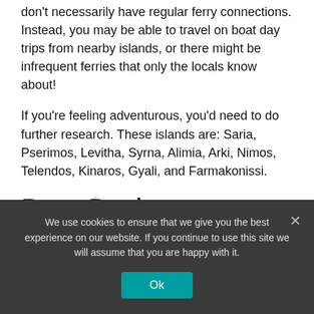don't necessarily have regular ferry connections. Instead, you may be able to travel on boat day trips from nearby islands, or there might be infrequent ferries that only the locals know about!
If you're feeling adventurous, you'd need to do further research. These islands are: Saria, Pserimos, Levitha, Syrna, Alimia, Arki, Nimos, Telendos, Kinaros, Gyali, and Farmakonissi.
Best Dodecanese
We use cookies to ensure that we give you the best experience on our website. If you continue to use this site we will assume that you are happy with it.